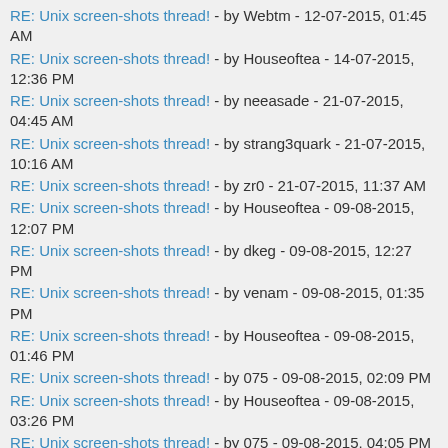RE: Unix screen-shots thread! - by Webtm - 12-07-2015, 01:45 AM
RE: Unix screen-shots thread! - by Houseoftea - 14-07-2015, 12:36 PM
RE: Unix screen-shots thread! - by neeasade - 21-07-2015, 04:45 AM
RE: Unix screen-shots thread! - by strang3quark - 21-07-2015, 10:16 AM
RE: Unix screen-shots thread! - by zr0 - 21-07-2015, 11:37 AM
RE: Unix screen-shots thread! - by Houseoftea - 09-08-2015, 12:07 PM
RE: Unix screen-shots thread! - by dkeg - 09-08-2015, 12:27 PM
RE: Unix screen-shots thread! - by venam - 09-08-2015, 01:35 PM
RE: Unix screen-shots thread! - by Houseoftea - 09-08-2015, 01:46 PM
RE: Unix screen-shots thread! - by 075 - 09-08-2015, 02:09 PM
RE: Unix screen-shots thread! - by Houseoftea - 09-08-2015, 03:26 PM
RE: Unix screen-shots thread! - by 075 - 09-08-2015, 04:05 PM